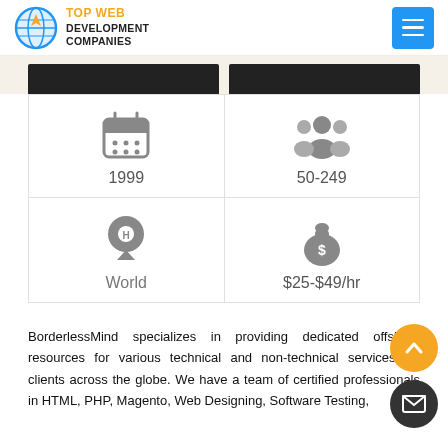Top Web Development Companies
[Figure (infographic): Company info grid with icons: founded 1999, employees 50-249, location World, rate $25-$49/hr]
BorderlessMind specializes in providing dedicated offshore resources for various technical and non-technical services for clients across the globe. We have a team of certified professionals in HTML, PHP, Magento, Web Designing, Software Testing,